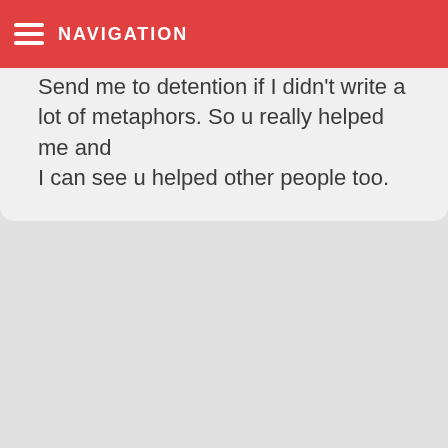NAVIGATION
Send me to detention if I didn't write a lot of metaphors. So u really helped me and I can see u helped other people too.
Brenda Cook / September 25, 2016
Can u give me 10 metaphors about school?
honey / September 25, 2016
hi, goodmorning, Can you